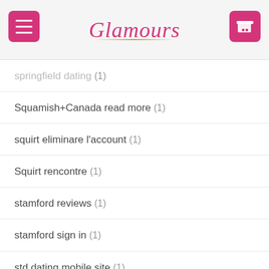Glamours
springfield dating (1)
Squamish+Canada read more (1)
squirt eliminare l'account (1)
Squirt rencontre (1)
stamford reviews (1)
stamford sign in (1)
std dating mobile site (1)
Stockton+NJ+New Jersey hookup sites (1)
straight dating review (1)
Strapon Dating chce strone (1)